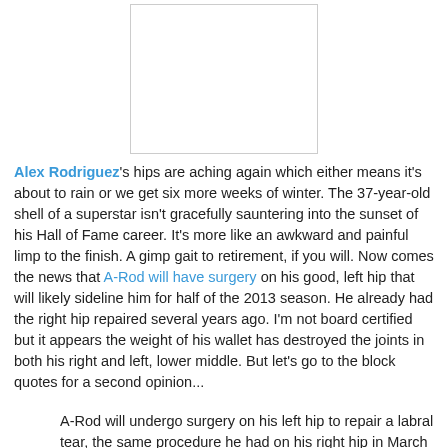[Figure (photo): Image placeholder box (photo of Alex Rodriguez, partially visible)]
Alex Rodriguez's hips are aching again which either means it's about to rain or we get six more weeks of winter. The 37-year-old shell of a superstar isn't gracefully sauntering into the sunset of his Hall of Fame career. It's more like an awkward and painful limp to the finish. A gimp gait to retirement, if you will. Now comes the news that A-Rod will have surgery on his good, left hip that will likely sideline him for half of the 2013 season. He already had the right hip repaired several years ago. I'm not board certified but it appears the weight of his wallet has destroyed the joints in both his right and left, lower middle. But let's go to the block quotes for a second opinion...
A-Rod will undergo surgery on his left hip to repair a labral tear, the same procedure he had on his right hip in March 2009, according to sources familiar with his case. The surgery will